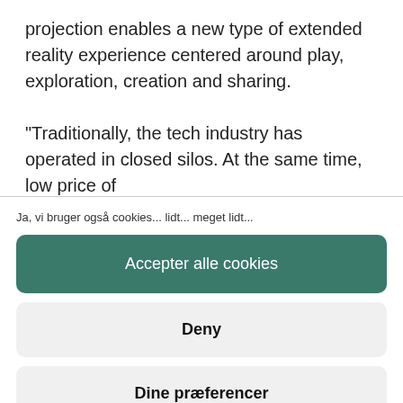projection enables a new type of extended reality experience centered around play, exploration, creation and sharing.
“Traditionally, the tech industry has operated in closed silos. At the same time, low price of
Ja, vi bruger også cookies... lidt... meget lidt...
Accepter alle cookies
Deny
Dine præferencer
Om cookies på maker-effekt.dk  Persondatap
Translate »